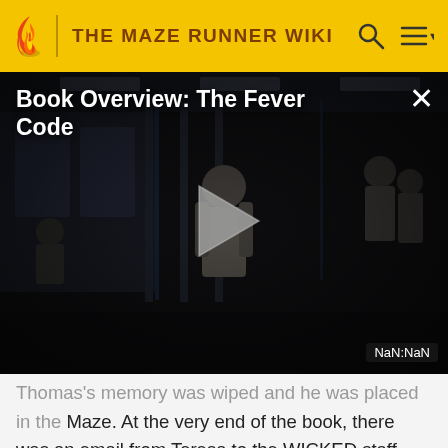THE MAZE RUNNER WIKI
Book Overview: The Fever Code
[Figure (screenshot): Video player showing a dark scene with a young man standing in what appears to be a facility. A large play button triangle is centered on the screen. Top-left shows title 'Book Overview: The Fever Code'. Top-right shows an X close button. Bottom-right shows timestamp 'NaN:NaN'.]
Thomas's memory was wiped and he was placed in the Maze. At the very end of the book, there was an email from Teresa to the WICKED staff, saying that she thought the plan for her to keep her memories and coordinate things telepathically with Aris was a good one. She stated that she appreciated everything WICKED had done for her